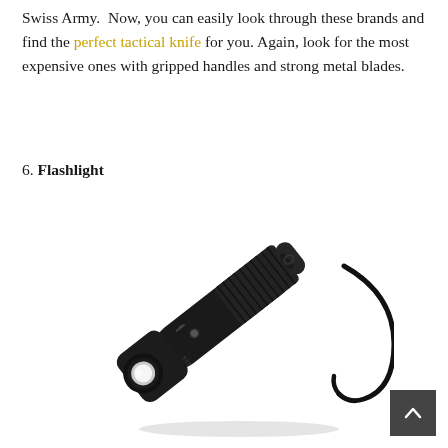Swiss Army.  Now, you can easily look through these brands and find the perfect tactical knife for you. Again, look for the most expensive ones with gripped handles and strong metal blades.
6. Flashlight
[Figure (photo): Black tactical LED flashlight (Outlite brand) with knurled grip body, wrist strap, and front lens, positioned diagonally on white background.]